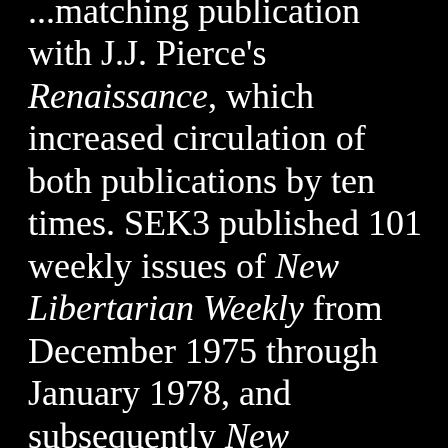...matching publication with J.J. Pierce's Renaissance, which increased circulation of both publications by ten times. SEK3 published 101 weekly issues of New Libertarian Weekly from December 1975 through January 1978, and subsequently New Libertarian, which devoted a yearly issue to libertarian science fiction, and published significant contributions by such writers as Robert Anton Wilson and Robert Shea, Brad Linaweaver, J. Neil...